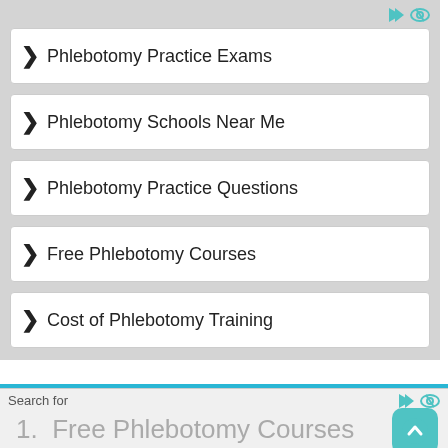Phlebotomy Practice Exams
Phlebotomy Schools Near Me
Phlebotomy Practice Questions
Free Phlebotomy Courses
Cost of Phlebotomy Training
Table Of Contents
Search for
1.  Free Phlebotomy Courses